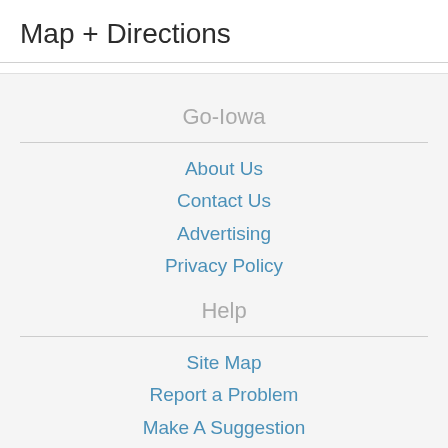Map + Directions
Go-Iowa
About Us
Contact Us
Advertising
Privacy Policy
Help
Site Map
Report a Problem
Make A Suggestion
Follow Us
facebook